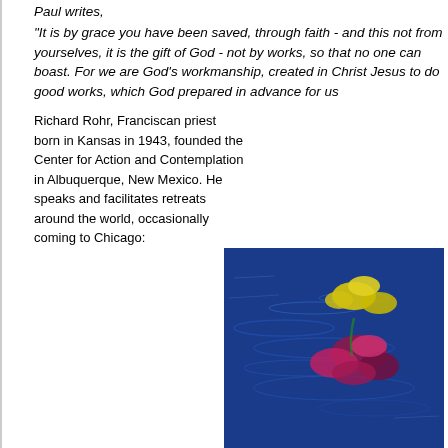Paul writes,
"It is by grace you have been saved, through faith - and this not from yourselves, it is the gift of God - not by works, so that no one can boast. For we are God's workmanship, created in Christ Jesus to do good works, which God prepared in advance for us
Richard Rohr, Franciscan priest born in Kansas in 1943, founded the Center for Action and Contemplation in Albuquerque, New Mexico. He speaks and facilitates retreats around the world, occasionally coming to Chicago:
[Figure (photo): Photograph of colorful flowers (yellow and red/purple) floating on blue rippling water]
(http://www.cacradicalgrace.org/aboutus/richard_road.html)
Rohr writes about this idea presented by Jesus and Paul:
People remain in a fear-filled and often infantile world, with a calculating mind toward God, not a surrendered, trusting mind. It is a less-than-mature understanding of reality.
Let’s look at this from the positive side. It starts with the very concept of election, of being chosen--what's finally called covenant love. We hear about it in the Book of Deuteronomy: God says to Israel if Yahweh set his heart on you and chose you it was not because you were greater than other peoples. In fact you were the least of all the peoples. That’s the theme.